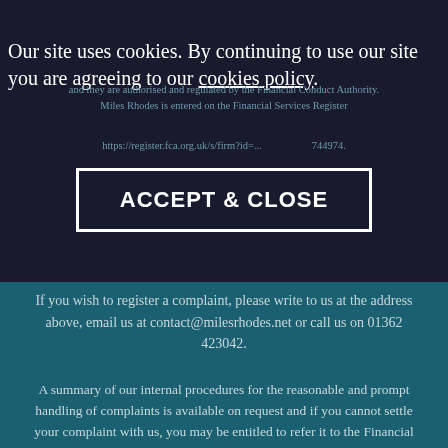Swanton Morley Norwich NR20 4NS.
Our site uses cookies. By continuing to use our site you are agreeing to our cookies policy.
and they are authorised and regulated by the Financial Conduct Authority. Miles Rhodes is entered on the Financial Services Register https://register.fca.org.uk/s/firm?id=... 744974.
ACCEPT & CLOSE
If you wish to register a complaint, please write to us at the address above, email us at contact@milesrhodes.net or call us on 01362 423042.
A summary of our internal procedures for the reasonable and prompt handling of complaints is available on request and if you cannot settle your complaint with us, you may be entitled to refer it to the Financial Ombudsman Service at www.financial-ombudsman.org.uk or by contacting them on 0800 0234 567.
© Copyright 2021 Miles Rhodes. All rights reserved.
Cookie Policy  |  Privacy Policy